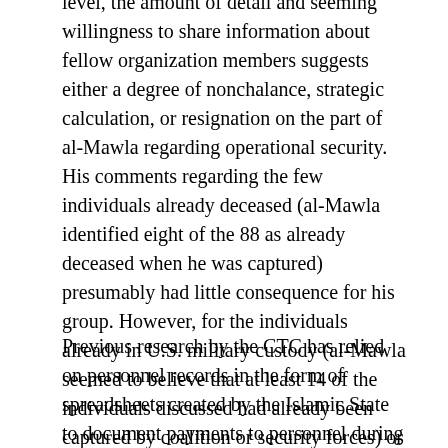level, the amount of detail and seeming willingness to share information about fellow organization members suggests either a degree of nonchalance, strategic calculation, or resignation on the part of al-Mawla regarding operational security. His comments regarding the few individuals already deceased (al-Mawla identified eight of the 88 as already deceased when he was captured) presumably had little consequence for his group. However, for the individuals already in U.S. military custody (al-Mawla seemed to believe that at least 14 of the individuals discussed had already been captured by coalition or security forces) or still operating in Iraq at the time of his interrogation, al-Mawla's descriptions of their roles likely had repercussions for at least some of those individuals.[aa]
Previous research by the CTC has relied on personnel records in the form of spreadsheets created by the Islamic State to document payments to personnel during the 2016-2017 timeframe.[61] Using the full names listed at the end of one of the al-Mawla TIRs, the authors searched other CTC documents to see if these individuals appeared.[ab] Through